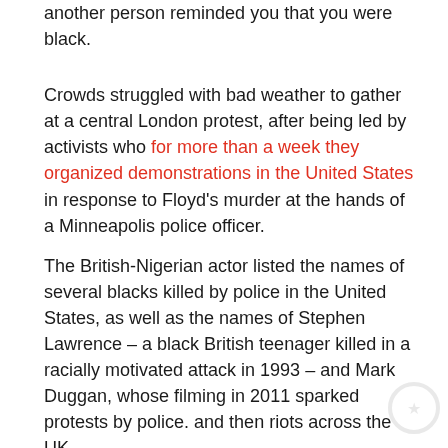another person reminded you that you were black.
Crowds struggled with bad weather to gather at a central London protest, after being led by activists who for more than a week they organized demonstrations in the United States in response to Floyd's murder at the hands of a Minneapolis police officer. The British-Nigerian actor listed the names of several blacks killed by police in the United States, as well as the names of Stephen Lawrence – a black British teenager killed in a racially motivated attack in 1993 – and Mark Duggan, whose filming in 2011 sparked protests by police. and then riots across the UK.
“This is so vital,” Boyega said. “I need you guys to understand how painful this s ** t is.”
“It is very, very important to keep control of that movement and make it as calm as possible,” he added. “They want us to quarrel.”